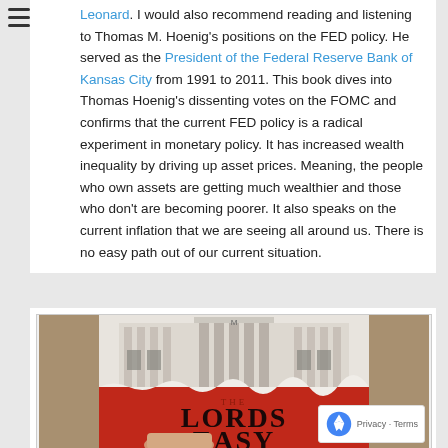Leonard. I would also recommend reading and listening to Thomas M. Hoenig's positions on the FED policy. He served as the President of the Federal Reserve Bank of Kansas City from 1991 to 2011. This book dives into Thomas Hoenig's dissenting votes on the FOMC and confirms that the current FED policy is a radical experiment in monetary policy. It has increased wealth inequality by driving up asset prices. Meaning, the people who own assets are getting much wealthier and those who don't are becoming poorer. It also speaks on the current inflation that we are seeing all around us. There is no easy path out of our current situation.
[Figure (photo): A hand holding a book titled 'The Lords of Easy' with a red and white cover featuring a neoclassical building (Federal Reserve building). The book cover shows the building with columns at the top half and bold red lettering 'LORDS EASY' at the bottom.]